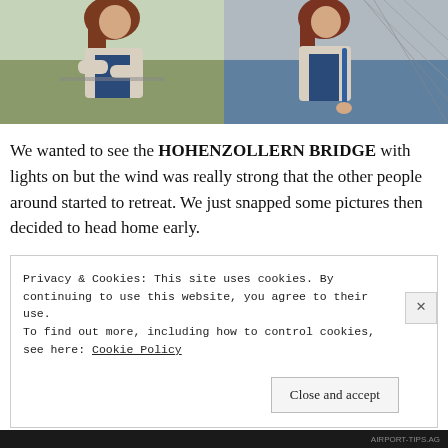[Figure (photo): Two side-by-side photos of a woman with reddish-brown hair on a bridge, wearing a beige jacket and blue top. Left photo shows her leaning with arms crossed; right photo shows her with a blue bag against a wire/bridge background.]
We wanted to see the HOHENZOLLERN BRIDGE with lights on but the wind was really strong that the other people around started to retreat. We just snapped some pictures then decided to head home early.
Privacy & Cookies: This site uses cookies. By continuing to use this website, you agree to their use.
To find out more, including how to control cookies, see here: Cookie Policy
[Close and accept]